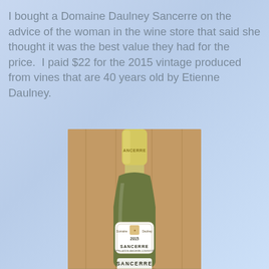I bought a Domaine Daulney Sancerre on the advice of the woman in the wine store that said she thought it was the best value they had for the price.  I paid $22 for the 2015 vintage produced from vines that are 40 years old by Etienne Daulney.
[Figure (photo): A bottle of Domaine Daulney Sancerre 2015 wine with a green glass bottle, cream/yellow foil capsule, and white label reading SANCERRE with the year 2015, photographed against a wood-paneled background.]